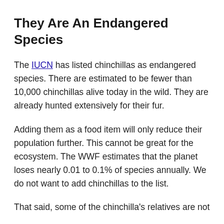They Are An Endangered Species
The IUCN has listed chinchillas as endangered species. There are estimated to be fewer than 10,000 chinchillas alive today in the wild. They are already hunted extensively for their fur.
Adding them as a food item will only reduce their population further. This cannot be great for the ecosystem. The WWF estimates that the planet loses nearly 0.01 to 0.1% of species annually. We do not want to add chinchillas to the list.
That said, some of the chinchilla's relatives are not